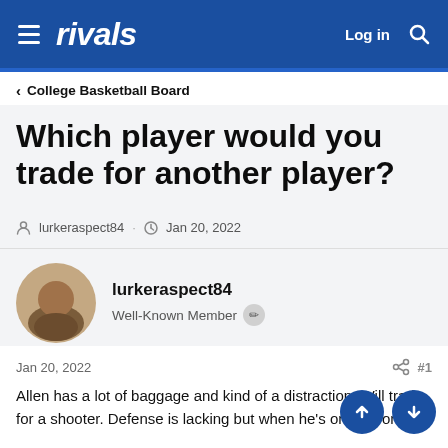rivals — Log in
College Basketball Board
Which player would you trade for another player?
lurkeraspect84 · Jan 20, 2022
lurkeraspect84
Well-Known Member
Jan 20, 2022   #1
Allen has a lot of baggage and kind of a distraction. Will trade for a shooter. Defense is lacking but when he's on he's on.